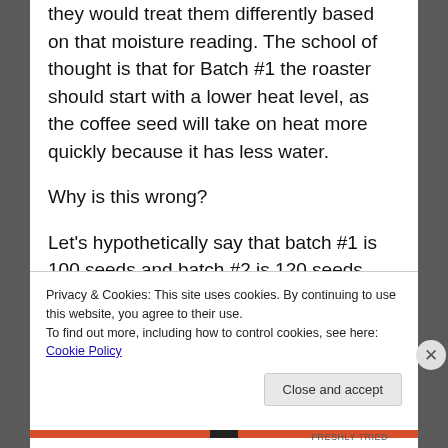they would treat them differently based on that moisture reading. The school of thought is that for Batch #1 the roaster should start with a lower heat level, as the coffee seed will take on heat more quickly because it has less water.
Why is this wrong?
Let's hypothetically say that batch #1 is 100 seeds and batch #2 is 120 seeds.
Batch #2 is a lot more coffee that is a lot less dense but will be roasted as if the inverse is true, based on how we currently look at moisture for
Privacy & Cookies: This site uses cookies. By continuing to use this website, you agree to their use.
To find out more, including how to control cookies, see here: Cookie Policy